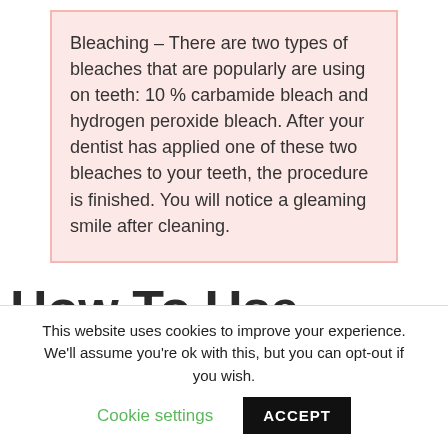Bleaching – There are two types of bleaches that are popularly are using on teeth: 10 % carbamide bleach and hydrogen peroxide bleach. After your dentist has applied one of these two bleaches to your teeth, the procedure is finished. You will notice a gleaming smile after cleaning.
How To Use Snow Teeth Whitening?
This website uses cookies to improve your experience. We'll assume you're ok with this, but you can opt-out if you wish. Cookie settings ACCEPT